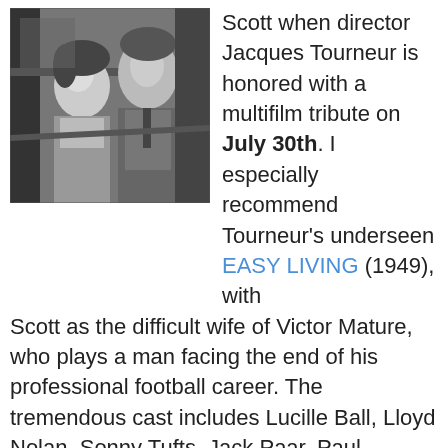[Figure (photo): Black and white photo of a man and woman in what appears to be a car or interior setting, classic film noir style]
Scott when director Jacques Tourneur is honored with a multifilm tribute on July 30th. I especially recommend Tourneur's underseen EASY LIVING (1949), with Scott as the difficult wife of Victor Mature, who plays a man facing the end of his professional football career. The tremendous cast includes Lucille Ball, Lloyd Nolan, Sonny Tufts, Jack Paar, Paul Stewart, Dick Erdman, Jeff Donnell, and Jim Backus.
...The month wraps up on July 31st with a final day of John Ford films, including the excellent SERGEANT RUTLEDGE (1960) starring Jeffrey Hunter, Constance Towers, and Woody Strode. Also showing that day: TWO RODE TOGETHER (1961) starring James Stewart, Richard Widmark, Shirley Jones, and Linda Cristal, who sadly has